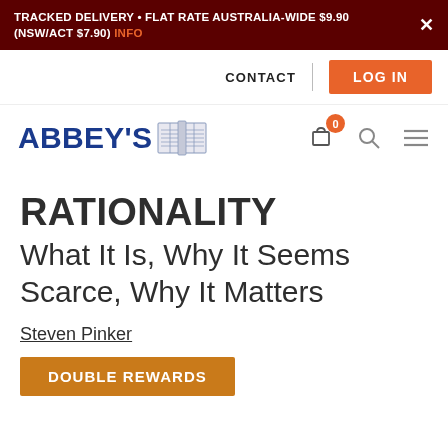TRACKED DELIVERY • FLAT RATE AUSTRALIA-WIDE $9.90 (NSW/ACT $7.90) INFO  ×
CONTACT | LOG IN
[Figure (logo): Abbey's bookstore logo with open book icon]
RATIONALITY
What It Is, Why It Seems Scarce, Why It Matters
Steven Pinker
DOUBLE REWARDS